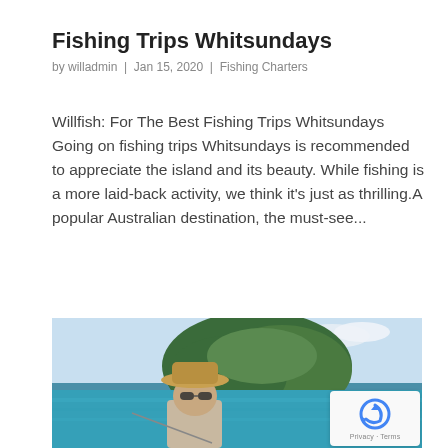Fishing Trips Whitsundays
by willadmin | Jan 15, 2020 | Fishing Charters
Willfish: For The Best Fishing Trips Whitsundays Going on fishing trips Whitsundays is recommended to appreciate the island and its beauty. While fishing is a more laid-back activity, we think it's just as thrilling.A popular Australian destination, the must-see...
[Figure (photo): Person wearing a hat and sunglasses on a boat with turquoise water and a green island in the background. Partial view of a reCAPTCHA badge in the bottom right corner.]